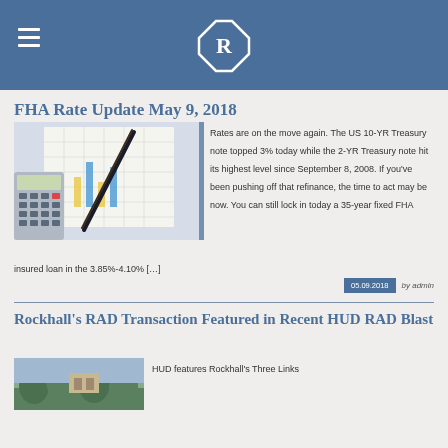R (logo with hamburger menu)
FHA Rate Update May 9, 2018
[Figure (photo): Calculator with pen and financial charts on paper]
Rates are on the move again. The US 10-YR Treasury note topped 3% today while the 2-YR Treasury note hit its highest level since September 8, 2008. If you've been pushing off that refinance, the time to act may be now. You can still lock in today a 35-year fixed FHA insured loan in the 3.85%-4.10% […]
05.09.2018  by admin
Rockhall's RAD Transaction Featured in Recent HUD RAD Blast
[Figure (photo): Outdoor nature/building photo]
HUD features Rockhall's Three Links